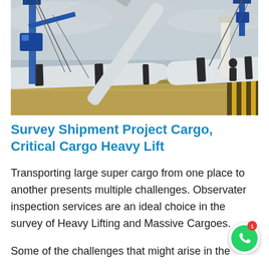[Figure (photo): Crane lifting large wind turbine blades on a cargo ship deck, overcast sky background]
Survey Shipment Project Cargo, Critical Cargo Heavy Lift
Transporting large super cargo from one place to another presents multiple challenges. Observater inspection services are an ideal choice in the survey of Heavy Lifting and Massive Cargoes.
Some of the challenges that might arise in the